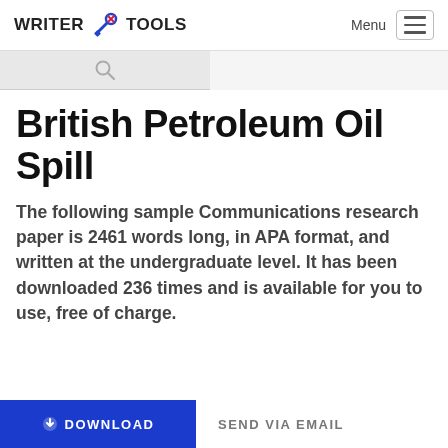WRITER TOOLS
British Petroleum Oil Spill
The following sample Communications research paper is 2461 words long, in APA format, and written at the undergraduate level. It has been downloaded 236 times and is available for you to use, free of charge.
DOWNLOAD
SEND VIA EMAIL